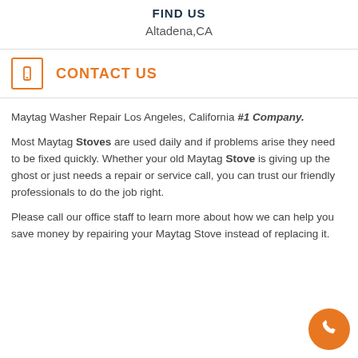FIND US
Altadena,CA
CONTACT US
Maytag Washer Repair Los Angeles, California #1 Company.
Most Maytag Stoves are used daily and if problems arise they need to be fixed quickly. Whether your old Maytag Stove is giving up the ghost or just needs a repair or service call, you can trust our friendly professionals to do the job right.
Please call our office staff to learn more about how we can help you save money by repairing your Maytag Stove instead of replacing it.